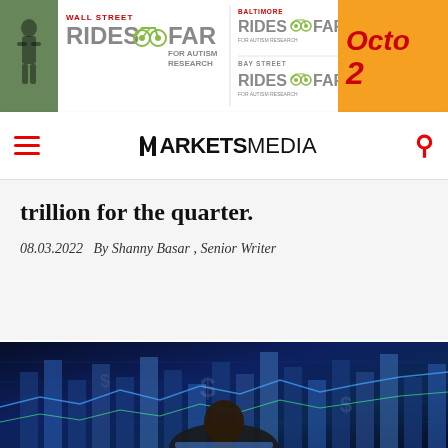[Figure (photo): Banner advertisement for Wall Street Rides FAR for Autism Research, Baltimore Rides FAR, Bay Street Rides FAR, with an October date]
MARKETS MEDIA
trillion for the quarter.
08.03.2022   By Shanny Basar , Senior Writer
[Figure (photo): Person viewed from behind looking at financial data screens with stock charts and graphs in blue tones]